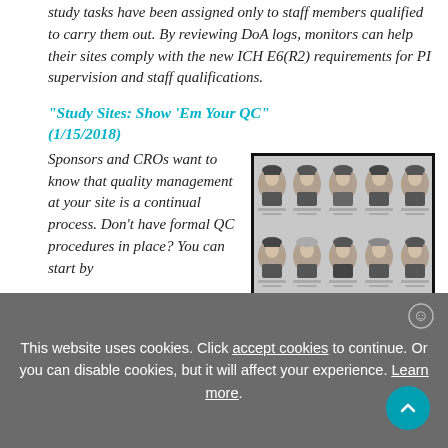study tasks have been assigned only to staff members qualified to carry them out. By reviewing DoA logs, monitors can help their sites comply with the new ICH E6(R2) requirements for PI supervision and staff qualifications.
"Study Sites: Show 'Em Your QC" (1/15/2018)
Sponsors and CROs want to know that quality management at your site is a continual process. Don't have formal QC procedures in place? You can start by
[Figure (photo): A grid of black and white mugshot-style portrait photographs, arranged in two rows of five, showing men in hats from what appears to be an early 20th century era.]
This website uses cookies. Click accept cookies to continue. Or you can disable cookies, but it will affect your experience. Learn more.